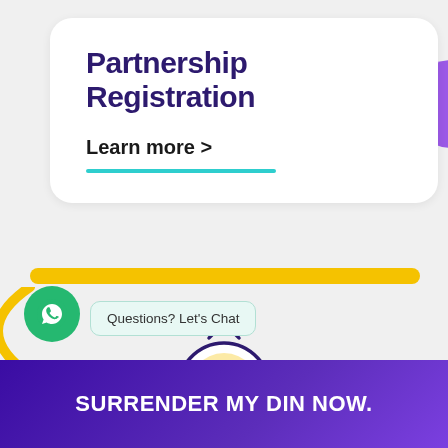Partnership Registration
Learn more  >
[Figure (illustration): Money bag with dollar sign held on a hand, with a stand/pedestal below]
[Figure (illustration): WhatsApp green circle button with chat bubble reading 'Questions? Let's Chat']
SURRENDER MY DIN NOW.